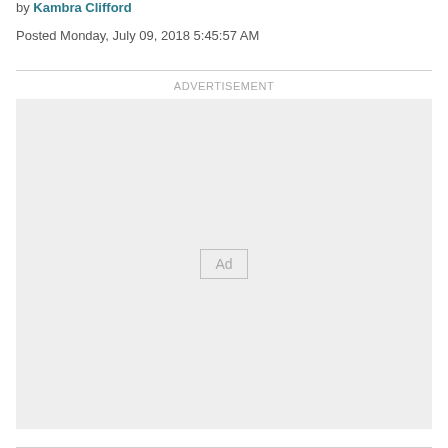by Kambra Clifford
Posted Monday, July 09, 2018 5:45:57 AM
[Figure (other): Advertisement placeholder box with 'Ad' label in center, light gray background]